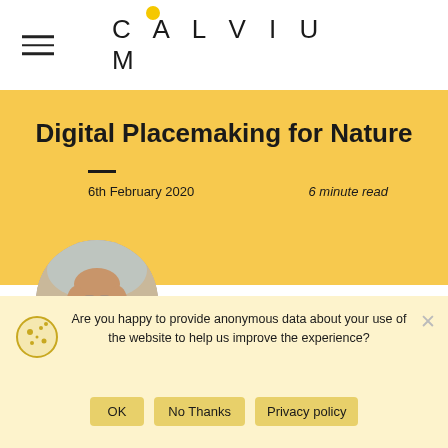CALVIUM
Digital Placemaking for Nature
6th February 2020   6 minute read
[Figure (photo): Circular portrait photo of Jo Morrison, a woman with shoulder-length blonde hair, smiling, wearing a dark top, photographed in front of a window with brick wall background.]
Jo Morrison
Director of Digital
Innovation &
Are you happy to provide anonymous data about your use of the website to help us improve the experience?
OK   No Thanks   Privacy policy
Sir David Attenborough, during his speech at the prestigious